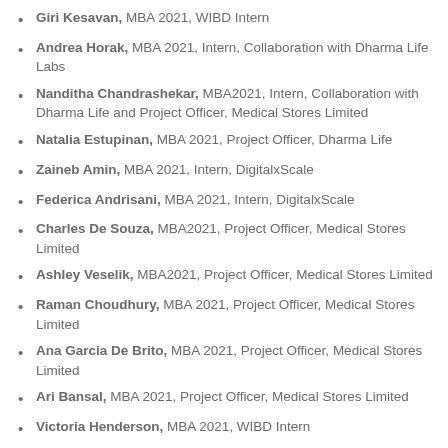Giri Kesavan, MBA 2021, WIBD Intern
Andrea Horak, MBA 2021, Intern, Collaboration with Dharma Life Labs
Nanditha Chandrashekar, MBA2021, Intern, Collaboration with Dharma Life and Project Officer, Medical Stores Limited
Natalia Estupinan, MBA 2021, Project Officer, Dharma Life
Zaineb Amin, MBA 2021, Intern, DigitalxScale
Federica Andrisani, MBA 2021, Intern, DigitalxScale
Charles De Souza, MBA2021, Project Officer, Medical Stores Limited
Ashley Veselik, MBA2021, Project Officer, Medical Stores Limited
Raman Choudhury, MBA 2021, Project Officer, Medical Stores Limited
Ana Garcia De Brito, MBA 2021, Project Officer, Medical Stores Limited
Ari Bansal, MBA 2021, Project Officer, Medical Stores Limited
Victoria Henderson, MBA 2021, WIBD Intern